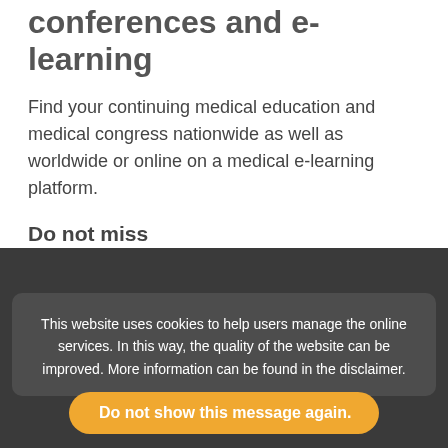conferences and e-learning
Find your continuing medical education and medical congress nationwide as well as worldwide or online on a medical e-learning platform.
Do not miss
Osteoporosis - How do I prevent the next fracture?
This website uses cookies to help users manage the online services. In this way, the quality of the website can be improved. More information can be found in the disclaimer.
Do not show this message again.